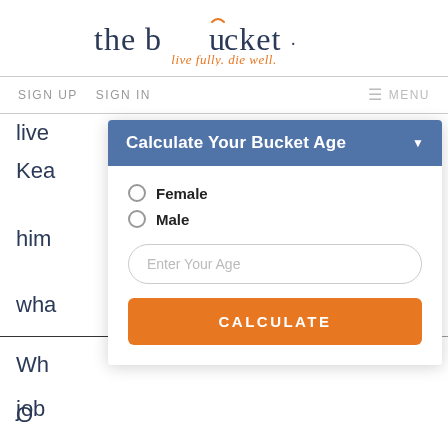[Figure (logo): The Bucket logo with tagline 'live fully. die well.' The word 'bucket' has a stylized orange arc over the 'u'. Logo text is dark navy blue, tagline is orange italic.]
SIGN UP   SIGN IN   ≡ MENU
live
Kea
him
wha
Wh
job
Calculate Your Bucket Age
Female
Male
Enter Your Age
CALCULATE